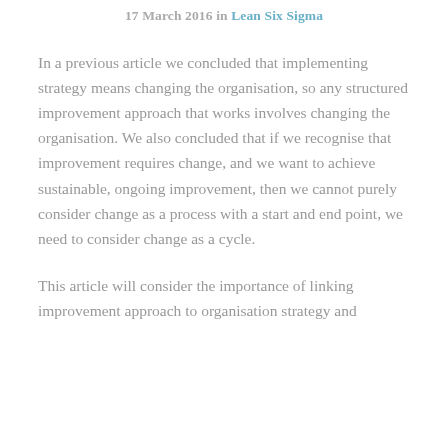17 March 2016 in Lean Six Sigma
In a previous article we concluded that implementing strategy means changing the organisation, so any structured improvement approach that works involves changing the organisation. We also concluded that if we recognise that improvement requires change, and we want to achieve sustainable, ongoing improvement, then we cannot purely consider change as a process with a start and end point, we need to consider change as a cycle.
This article will consider the importance of linking improvement approach to organisation strategy and